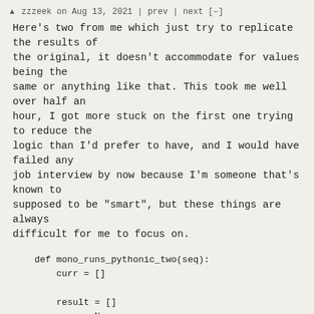zzzeek on Aug 13, 2021 | prev | next [-]
Here's two from me which just try to replicate the results of the original, it doesn't accommodate for values being the same or anything like that. This took me well over half an hour, I got more stuck on the first one trying to reduce the logic than I'd prefer to have, and I would have failed any job interview by now because I'm someone that's known to supposed to be "smart", but these things are always difficult for me to focus on.
def mono_runs_pythonic_two(seq):
        curr = []

        result = []
        prev = None
        is_decreasing = None

        for elem in seq:
              if prev is not None:
                    if (
                          elem < prev
                    ) is not is_decreasing and
 is_decreasing is not None:

                                if is_decreasing:
                                      curr.reverse()
                                if curr:
                                      result.append(curr)